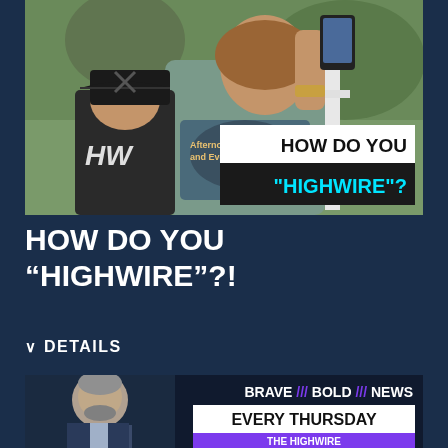[Figure (photo): Woman taking a selfie with a child wearing a black cap with HW logo, outdoor setting, overlay text HOW DO YOU HIGHWIRE?]
HOW DO YOU “HIGHWIRE”?!
∨ DETAILS
[Figure (photo): Man in studio setting with overlay text BRAVE /// BOLD /// NEWS EVERY THURSDAY THE HIGHWIRE]